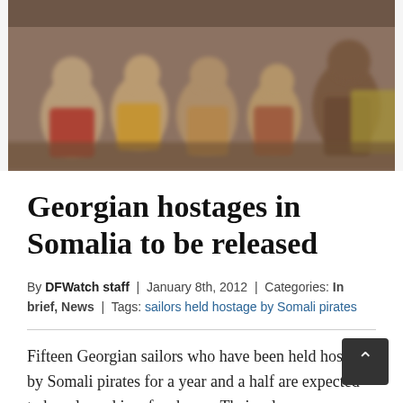[Figure (photo): A blurry/low-resolution video screenshot showing a group of people, likely hostages, sitting together in a cramped space. The image appears to be a still from a video recording.]
Georgian hostages in Somalia to be released
By DFWatch staff | January 8th, 2012 | Categories: In brief, News | Tags: sailors held hostage by Somali pirates
Fifteen Georgian sailors who have been held hostage by Somali pirates for a year and a half are expected to be released in a few hours. Their release comes after intense negotiations by a an inter-